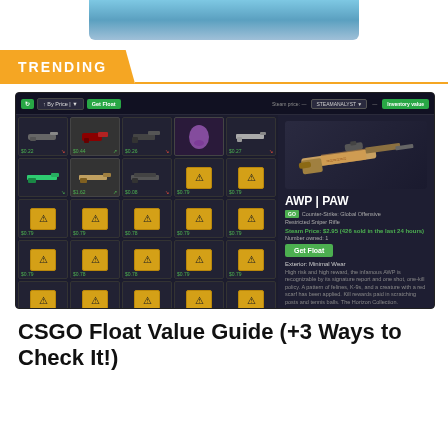[Figure (photo): Cropped top portion of a person/image, partially visible at the top of the page]
TRENDING
[Figure (screenshot): Screenshot of a CSGO skin inventory tool (SteamAnalyst) showing a grid of weapon skins and crates on the left, and an AWP | PAW skin detail panel on the right with price $2.95, 426 sold in last 24 hours, Minimal Wear exterior]
CSGO Float Value Guide (+3 Ways to Check It!)